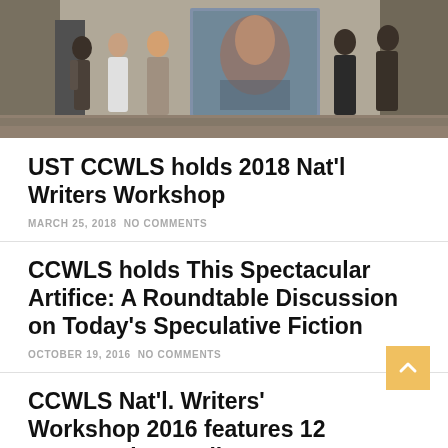[Figure (photo): Group photo of people standing outdoors holding a large illustrated poster/banner]
UST CCWLS holds 2018 Nat'l Writers Workshop
MARCH 25, 2018  NO COMMENTS
CCWLS holds This Spectacular Artifice: A Roundtable Discussion on Today's Speculative Fiction
OCTOBER 19, 2016  NO COMMENTS
CCWLS Nat'l. Writers' Workshop 2016 features 12 young writers; Kilates, Nadera are guest panelists